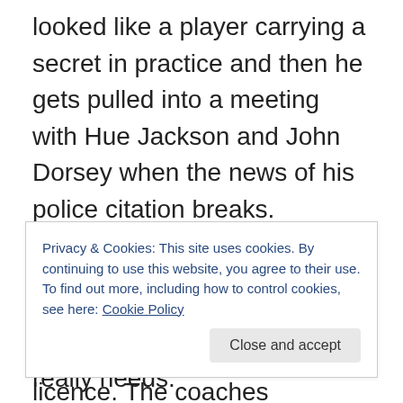looked like a player carrying a secret in practice and then he gets pulled into a meeting with Hue Jackson and John Dorsey when the news of his police citation breaks. However, it didn't look like he covered everything the police found in his car, and he was driving with a suspended licence. The coaches approach appears to be make him earn his place back on the team, so after an apology to the team he is made to play every down on offence. There was a clip of Todd Haley challenging Jarvis Landry to take Calloway under his wing as they needed him and it was what Larry Fitzgerald would do. I can't help
Privacy & Cookies: This site uses cookies. By continuing to use this website, you agree to their use.
To find out more, including how to control cookies, see here: Cookie Policy
is not what this franchise really needs.